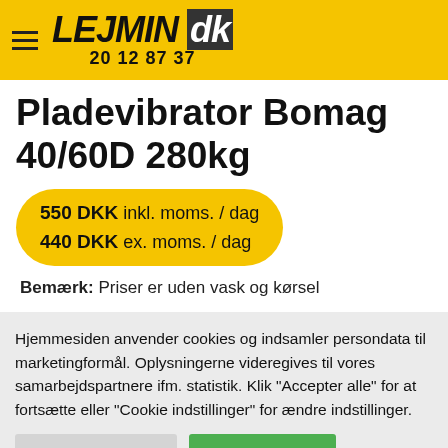LEJMIN.dk 20 12 87 37
Pladevibrator Bomag 40/60D 280kg
550 DKK inkl. moms. / dag
440 DKK ex. moms. / dag
Bemærk: Priser er uden vask og kørsel
Hjemmesiden anvender cookies og indsamler persondata til marketingformål. Oplysningerne videregives til vores samarbejdspartnere ifm. statistik. Klik "Accepter alle" for at fortsætte eller "Cookie indstillinger" for ændre indstillinger.
Cookie indstillinger | Accepter alle